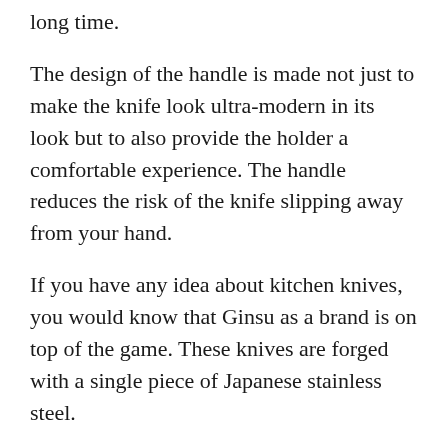long time.
The design of the handle is made not just to make the knife look ultra-modern in its look but to also provide the holder a comfortable experience. The handle reduces the risk of the knife slipping away from your hand.
If you have any idea about kitchen knives, you would know that Ginsu as a brand is on top of the game. These knives are forged with a single piece of Japanese stainless steel.
The Japanese stainless steel which the knives are fabricated with prevents them from rusting and corrosion and keeps them shining and sharp for a long time. This knife set also comes with a honing steel with which you can re-sharpen the knives anytime you want.